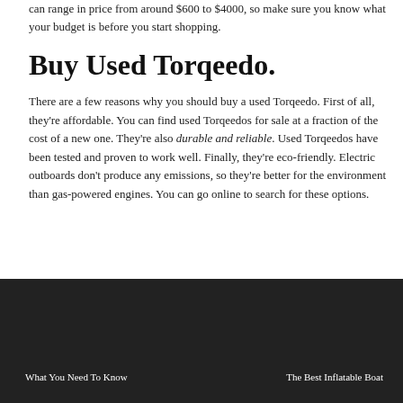can range in price from around $600 to $4000, so make sure you know what your budget is before you start shopping.
Buy Used Torqeedo.
There are a few reasons why you should buy a used Torqeedo. First of all, they're affordable. You can find used Torqeedos for sale at a fraction of the cost of a new one. They're also durable and reliable. Used Torqeedos have been tested and proven to work well. Finally, they're eco-friendly. Electric outboards don't produce any emissions, so they're better for the environment than gas-powered engines. You can go online to search for these options.
What You Need To Know    The Best Inflatable Boat